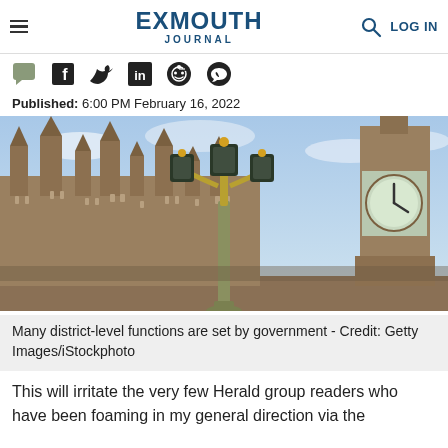EXMOUTH JOURNAL | LOG IN
[Figure (other): Social media sharing icons: comment, Facebook, Twitter, LinkedIn, Reddit, WhatsApp]
Published: 6:00 PM February 16, 2022
[Figure (photo): Photo of Houses of Parliament and Big Ben with a decorative lamp post in the foreground, London. Credit: Getty Images/iStockphoto]
Many district-level functions are set by government - Credit: Getty Images/iStockphoto
This will irritate the very few Herald group readers who have been foaming in my general direction via the